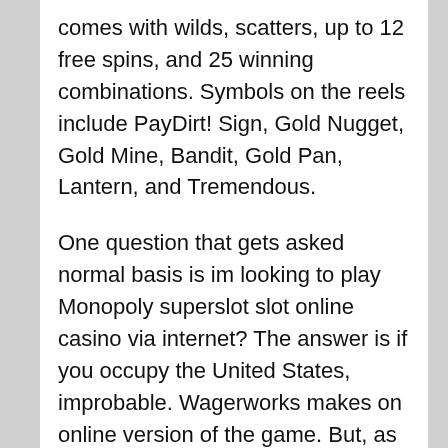comes with wilds, scatters, up to 12 free spins, and 25 winning combinations. Symbols on the reels include PayDirt! Sign, Gold Nugget, Gold Mine, Bandit, Gold Pan, Lantern, and Tremendous.
One question that gets asked normal basis is im looking to play Monopoly superslot slot online casino via internet? The answer is if you occupy the United States, improbable. Wagerworks makes on online version of the game. But, as of this date, the casinos that are powered this particular software don't accept US players. So, for now, you must visit a land based casino perform this online.
Get to understand your be familiar with game onto the machine, this is very important for the